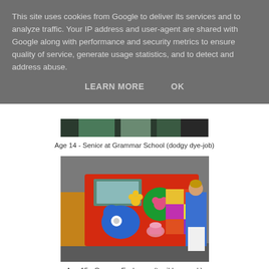This site uses cookies from Google to deliver its services and to analyze traffic. Your IP address and user-agent are shared with Google along with performance and security metrics to ensure quality of service, generate usage statistics, and to detect and address abuse.
LEARN MORE   OK
[Figure (photo): Partial photo partially hidden under cookie overlay, appears to be a dark/moody image, partially visible at top of content area]
Age 14 - Senior at Grammar School (dodgy dye-job)
[Figure (photo): Photo of a colorful painted red tram/vehicle with blue, green, pink, and yellow cartoon/flower decorations. A person in a blue jacket stands to the right of the vehicle.]
Age 15 - German Exchange (terrible anorak)